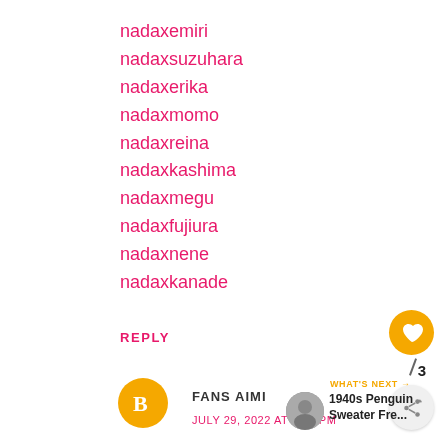nadaxemiri
nadaxsuzuhara
nadaxerika
nadaxmomo
nadaxreina
nadaxkashima
nadaxmegu
nadaxfujiura
nadaxnene
nadaxkanade
REPLY
3
FANS AIMI
JULY 29, 2022 AT 5:27 PM
WHAT'S NEXT → 1940s Penguin Sweater Fre...